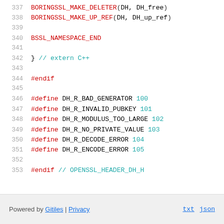337  BORINGSSL_MAKE_DELETER(DH, DH_free)
338  BORINGSSL_MAKE_UP_REF(DH, DH_up_ref)
339
340  BSSL_NAMESPACE_END
341
342  }  // extern C++
343
344  #endif
345
346  #define DH_R_BAD_GENERATOR 100
347  #define DH_R_INVALID_PUBKEY 101
348  #define DH_R_MODULUS_TOO_LARGE 102
349  #define DH_R_NO_PRIVATE_VALUE 103
350  #define DH_R_DECODE_ERROR 104
351  #define DH_R_ENCODE_ERROR 105
352
353  #endif  // OPENSSL_HEADER_DH_H
Powered by Gitiles | Privacy   txt  json